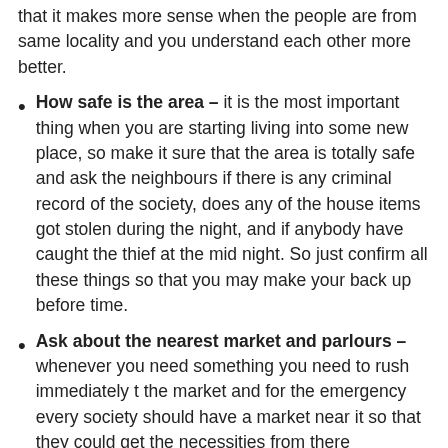that it makes more sense when the people are from same locality and you understand each other more better.
How safe is the area – it is the most important thing when you are starting living into some new place, so make it sure that the area is totally safe and ask the neighbours if there is any criminal record of the society, does any of the house items got stolen during the night, and if anybody have caught the thief at the mid night. So just confirm all these things so that you may make your back up before time.
Ask about the nearest market and parlours – whenever you need something you need to rush immediately t the market and for the emergency every society should have a market near it so that they could get the necessities from there whenever they are not able to reach the main market. So just get to know which is the best shop and about the best products that...